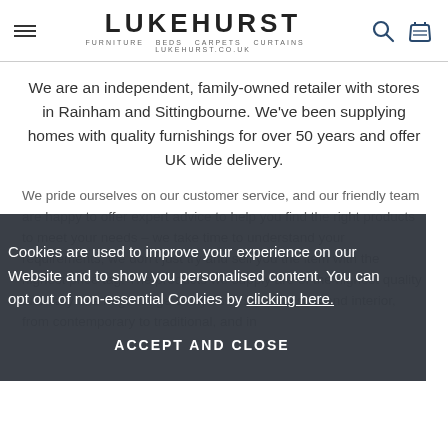LUKEHURST — FURNITURE BEDS CARPETS CURTAINS lukehurst.co.uk
We are an independent, family-owned retailer with stores in Rainham and Sittingbourne. We've been supplying homes with quality furnishings for over 50 years and offer UK wide delivery.
We pride ourselves on our customer service, and our friendly team are happy to offer expert advice to help you find the right products to meet your needs – we take time to understand your requirements; we don't just try and sell you the item with the highest price tag. The products we supply are of the highest quality and vary in a huge range of styles to suit all tastes and interior, from contemporary to traditional, and in...
Cookies are used to improve your experience on our Website and to show you personalised content. You can opt out of non-essential Cookies by clicking here.
ACCEPT AND CLOSE